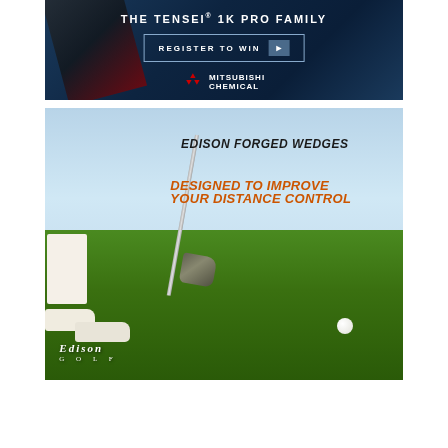[Figure (advertisement): Mitsubishi Chemical advertisement for THE TENSEI 1K PRO FAMILY shaft with 'REGISTER TO WIN' button and Mitsubishi Chemical logo on dark blue background]
[Figure (advertisement): Edison Golf advertisement showing EDISON FORGED WEDGES - DESIGNED TO IMPROVE YOUR DISTANCE CONTROL with a golf wedge and ball on grass, featuring Edison Golf logo]